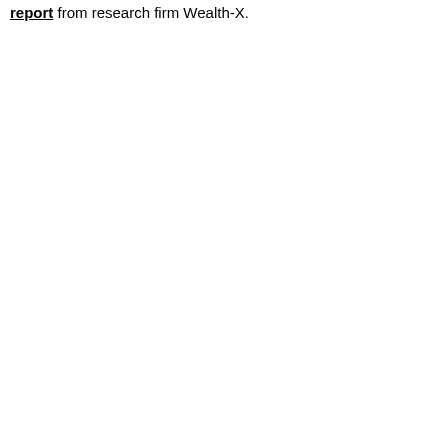report from research firm Wealth-X.
[Figure (screenshot): YouTube video thumbnail for 'We Visualized Billionaire Wealth Gai...' by Mother Jones, showing three black-and-white figures (Rupert Murdoch, Mark Zuckerberg, Jeff Bezos) with green upward arrows in the background, a red YouTube play button overlay, and a cookie consent banner at the bottom reading 'Privacy & Cookies: This site uses cookies. By continuing to use this website, you agree to their use. To find out more, including how to control cookies, see here: Cookie Policy.' with a 'Close and accept' button.]